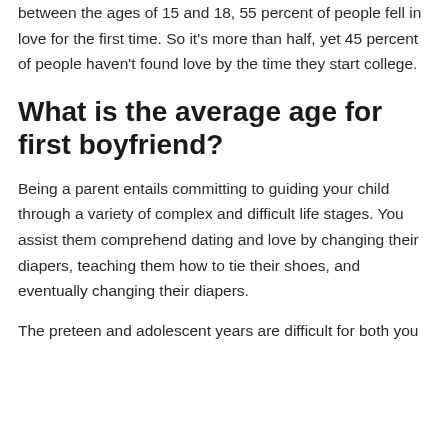between the ages of 15 and 18, 55 percent of people fell in love for the first time. So it's more than half, yet 45 percent of people haven't found love by the time they start college.
What is the average age for first boyfriend?
Being a parent entails committing to guiding your child through a variety of complex and difficult life stages. You assist them comprehend dating and love by changing their diapers, teaching them how to tie their shoes, and eventually changing their diapers.
The preteen and adolescent years are difficult for both you